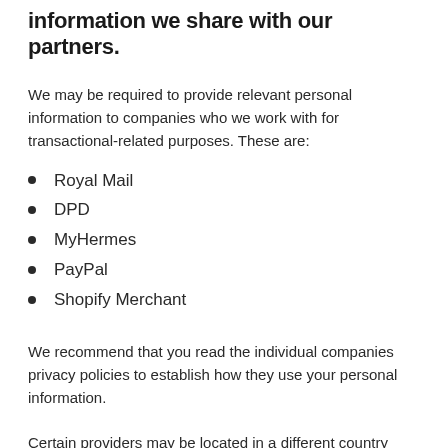information we share with our partners.
We may be required to provide relevant personal information to companies who we work with for transactional-related purposes. These are:
Royal Mail
DPD
MyHermes
PayPal
Shopify Merchant
We recommend that you read the individual companies privacy policies to establish how they use your personal information.
Certain providers may be located in a different country than you or us and your information may, therefore, be held or transferred overseas. Your information may also become subject to the laws of the jurisdiction in which that service provider is located.